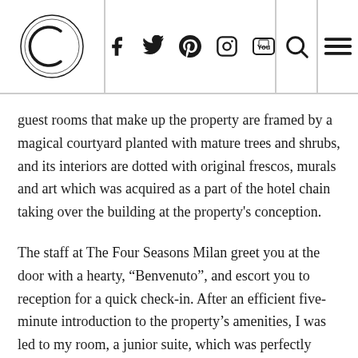[Logo] [Social icons: f, Twitter, Pinterest, Instagram, YouTube] [Search] [Menu]
guest rooms that make up the property are framed by a magical courtyard planted with mature trees and shrubs, and its interiors are dotted with original frescos, murals and art which was acquired as a part of the hotel chain taking over the building at the property’s conception.
The staff at The Four Seasons Milan greet you at the door with a hearty, “Benvenuto”, and escort you to reception for a quick check-in. After an efficient five-minute introduction to the property’s amenities, I was led to my room, a junior suite, which was perfectly outfitted with flat-screen televisions, a large, cozy king-